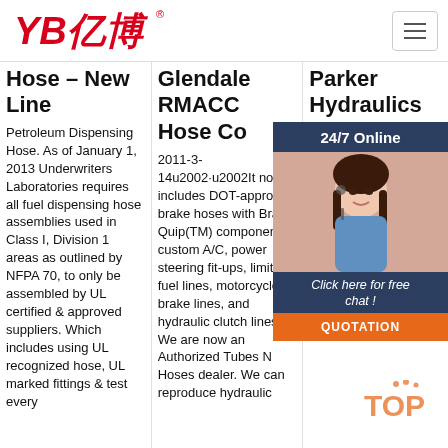[Figure (logo): YB亿博 company logo in red with registered trademark symbol]
[Figure (infographic): Hamburger menu button (three horizontal lines) in top right corner]
Hose – New Line
Petroleum Dispensing Hose. As of January 1, 2013 Underwriters Laboratories requires all fuel dispensing hose assemblies used in Class I, Division 1 areas as outlined by NFPA 70, to only be assembled by UL certified & approved suppliers. Which includes using UL recognized hose, UL marked fittings & test every
Glendale RMACC Hose Co
2011-3-14u2002·u2002It now includes DOT-approved brake hoses with Brake Quip(TM) components, custom A/C, power steering fit-ups, limited fuel lines, motorcycle brake lines, and hydraulic clutch lines. We are now an Authorized Tubes N Hoses dealer. We can reproduce hydraulic
Parker Hydraulics Ho
...
Par wor dive ma mo tec sy pre eng solutions for a wide variety of commercial, mobile, industrial aerospace markets. 263 manufacturing sites around the
[Figure (photo): Customer service agent - woman wearing headset, smiling, in blue shirt]
24/7 Online
Click here for free chat !
QUOTATION
[Figure (logo): TOP watermark logo in orange/red colors]